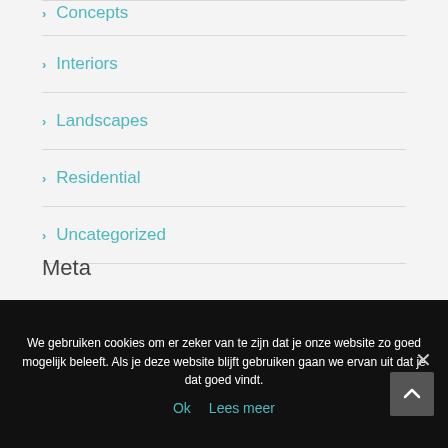> Concepts
> Interiors
> Landscapes
> Residential
> Uncategorized
Meta
We gebruiken cookies om er zeker van te zijn dat je onze website zo goed mogelijk beleeft. Als je deze website blijft gebruiken gaan we ervan uit dat je dat goed vindt.
Ok  Lees meer